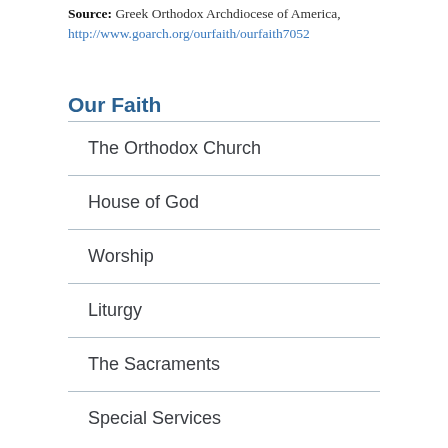Source: Greek Orthodox Archdiocese of America, http://www.goarch.org/ourfaith/ourfaith7052
Our Faith
The Orthodox Church
House of God
Worship
Liturgy
The Sacraments
Special Services